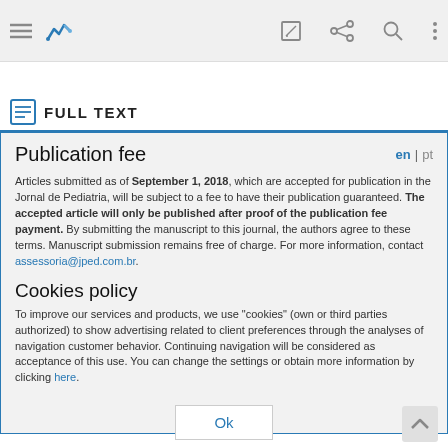[Figure (screenshot): Mobile app toolbar with hamburger menu, blue logo/icon, edit icon, share icon, search icon, and more options icon on gray background]
FULL TEXT
Publication fee
Articles submitted as of September 1, 2018, which are accepted for publication in the Jornal de Pediatria, will be subject to a fee to have their publication guaranteed. The accepted article will only be published after proof of the publication fee payment. By submitting the manuscript to this journal, the authors agree to these terms. Manuscript submission remains free of charge. For more information, contact assessoria@jped.com.br.
Cookies policy
To improve our services and products, we use "cookies" (own or third parties authorized) to show advertising related to client preferences through the analyses of navigation customer behavior. Continuing navigation will be considered as acceptance of this use. You can change the settings or obtain more information by clicking here.